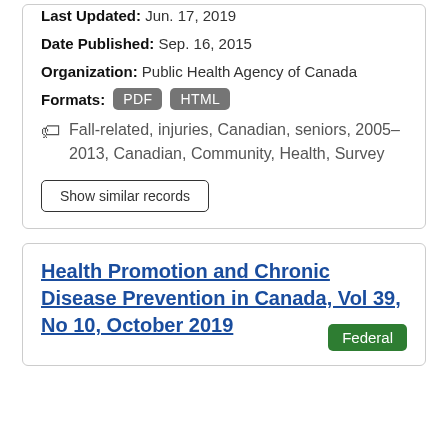Last Updated: Jun. 17, 2019
Date Published: Sep. 16, 2015
Organization: Public Health Agency of Canada
Formats: PDF HTML
Fall-related, injuries, Canadian, seniors, 2005–2013, Canadian, Community, Health, Survey
Show similar records
Health Promotion and Chronic Disease Prevention in Canada, Vol 39, No 10, October 2019
Federal